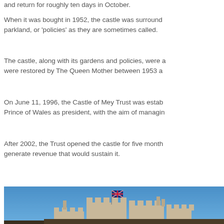and return for roughly ten days in October.
When it was bought in 1952, the castle was surrounded by parkland, or 'policies' as they are sometimes called.
The castle, along with its gardens and policies, were a were restored by The Queen Mother between 1953 a
On June 11, 1996, the Castle of Mey Trust was estab Prince of Wales as president, with the aim of managin
After 2002, the Trust opened the castle for five month generate revenue that would sustain it.
[Figure (photo): Photograph of the Castle of Mey showing stone battlements and towers against a clear blue sky, with a Union Jack flag flying from a flagpole.]